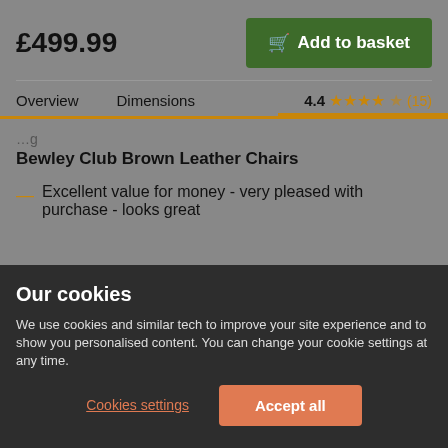£499.99
Add to basket
Overview    Dimensions    4.4 ★★★★☆ (15)
Bewley Club Brown Leather Chairs
— Excellent value for money - very pleased with purchase - looks great
Our cookies
We use cookies and similar tech to improve your site experience and to show you personalised content. You can change your cookie settings at any time.
Cookies settings
Accept all